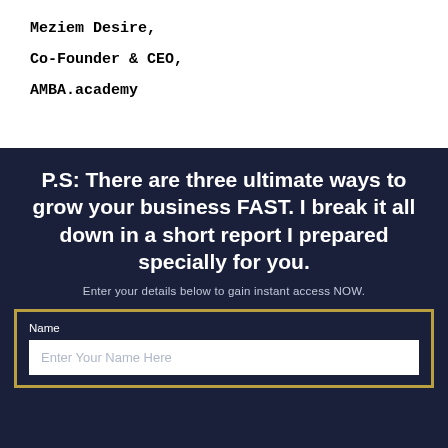Meziem Desire,
Co-Founder & CEO,
AMBA.academy
P.S: There are three ultimate ways to grow your business FAST. I break it all down in a short report I prepared specially for you.
Enter your details below to gain instant access NOW.
Name
Enter Your Name Here